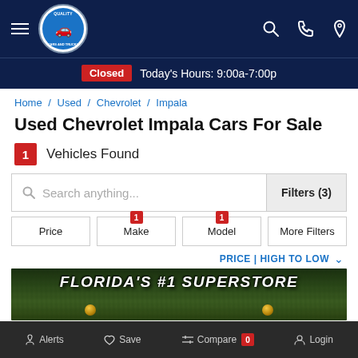Navigation bar with hamburger menu, logo, search, phone, and location icons
Closed  Today's Hours: 9:00a-7:00p
Home / Used / Chevrolet / Impala
Used Chevrolet Impala Cars For Sale
1 Vehicles Found
Search anything...  Filters (3)
Price   1 Make   1 Model   More Filters
PRICE | HIGH TO LOW
[Figure (photo): Dealership banner reading FLORIDA'S #1 SUPERSTORE with trees in background]
Alerts  Save  Compare 0  Login